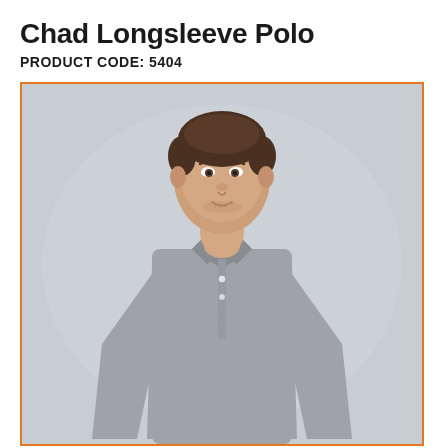Chad Longsleeve Polo
PRODUCT CODE: 5404
[Figure (photo): Male model wearing a grey long-sleeve polo shirt, standing against a light grey background, shown from head to below waist.]